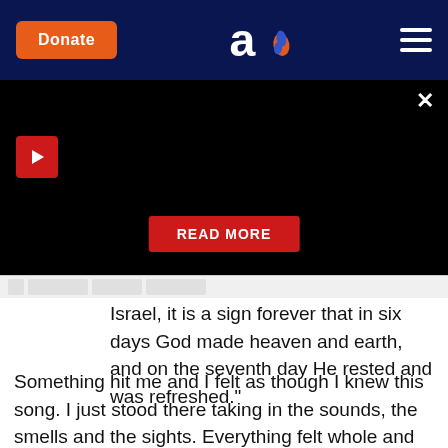Donate | Aish logo | Menu
[Figure (screenshot): Black video player area with red play button, close X button, and red READ MORE button]
Israel, it is a sign forever that in six days God made heaven and earth, and on the seventh day He rested and was refreshed."
Something hit me and I felt as though I knew this song. I just stood there taking in the sounds, the smells and the sights. Everything felt whole and perfect. It was the opposite of everything I'd ever heard about Jews or Judaism. At this point my tears were streaming in